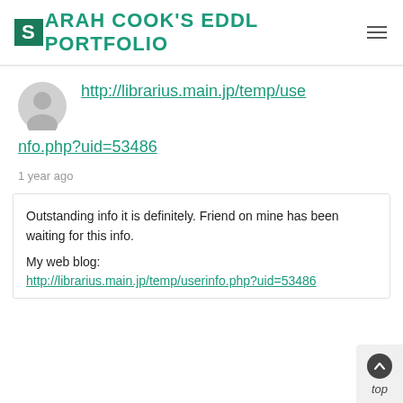SARAH COOK'S EDDL PORTFOLIO
http://librarius.main.jp/temp/userinfo.php?uid=53486
1 year ago
Outstanding info it is definitely. Friend on mine has been waiting for this info.

My web blog:
http://librarius.main.jp/temp/userinfo.php?uid=53486